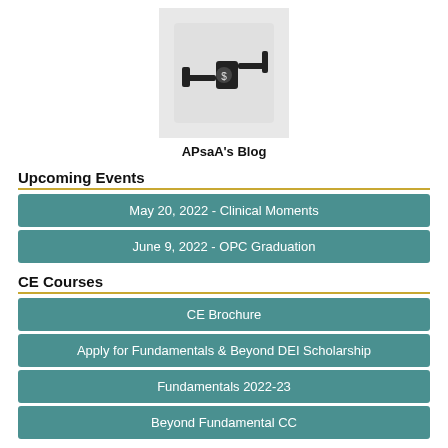[Figure (logo): APsaA blog logo showing a syringe/injection icon on a grey background]
APsaA's Blog
Upcoming Events
May 20, 2022 - Clinical Moments
June 9, 2022 - OPC Graduation
CE Courses
CE Brochure
Apply for Fundamentals & Beyond DEI Scholarship
Fundamentals 2022-23
Beyond Fundamental CC